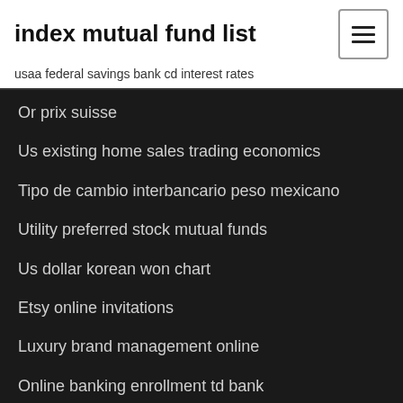index mutual fund list
usaa federal savings bank cd interest rates
Or prix suisse
Us existing home sales trading economics
Tipo de cambio interbancario peso mexicano
Utility preferred stock mutual funds
Us dollar korean won chart
Etsy online invitations
Luxury brand management online
Online banking enrollment td bank
Brent oil price by year
Covenant vs contract bible